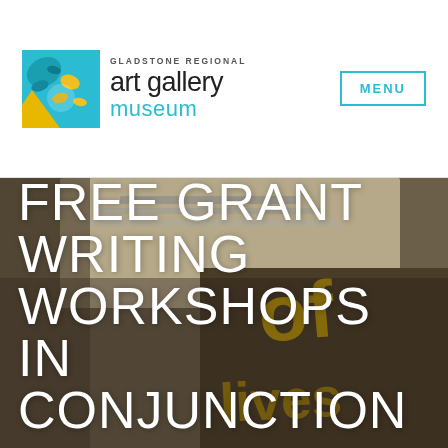[Figure (logo): Gladstone Regional Art Gallery Museum logo with colorful abstract icon and text]
MENU
[Figure (photo): Photo of a person holding a newspaper with street art, overlaid with large white text reading FREE GRANT WRITING WORKSHOPS IN CONJUNCTION]
FREE GRANT WRITING WORKSHOPS IN CONJUNCTION